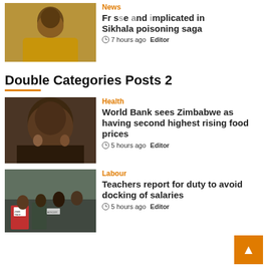[Figure (photo): Man in yellow patterned shirt outdoors]
News
Frse and implicated in Sikhala poisoning saga
7 hours ago  Editor
Double Categories Posts 2
[Figure (photo): Close-up face of a man outdoors]
Health
World Bank sees Zimbabwe as having second highest rising food prices
5 hours ago  Editor
[Figure (photo): Crowd of people with protest signs]
Labour
Teachers report for duty to avoid docking of salaries
5 hours ago  Editor